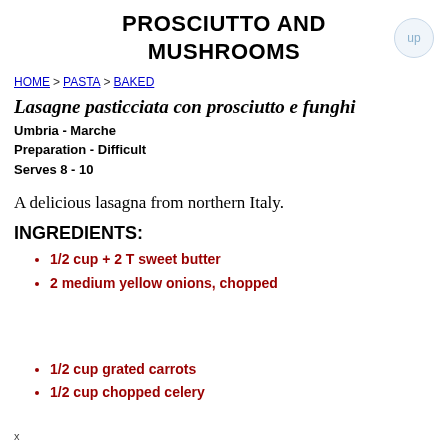PROSCIUTTO AND MUSHROOMS
HOME > PASTA > BAKED
Lasagne pasticciata con prosciutto e funghi
Umbria - Marche
Preparation - Difficult
Serves 8 - 10
A delicious lasagna from northern Italy.
INGREDIENTS:
1/2 cup + 2 T sweet butter
2 medium yellow onions, chopped
1/2 cup grated carrots
1/2 cup chopped celery